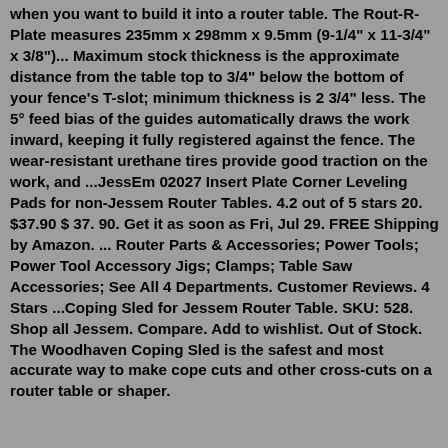when you want to build it into a router table. The Rout-R-Plate measures 235mm x 298mm x 9.5mm (9-1/4" x 11-3/4" x 3/8")... Maximum stock thickness is the approximate distance from the table top to 3/4" below the bottom of your fence's T-slot; minimum thickness is 2 3/4" less. The 5° feed bias of the guides automatically draws the work inward, keeping it fully registered against the fence. The wear-resistant urethane tires provide good traction on the work, and ...JessEm 02027 Insert Plate Corner Leveling Pads for non-Jessem Router Tables. 4.2 out of 5 stars 20. $37.90 $ 37. 90. Get it as soon as Fri, Jul 29. FREE Shipping by Amazon. ... Router Parts & Accessories; Power Tools; Power Tool Accessory Jigs; Clamps; Table Saw Accessories; See All 4 Departments. Customer Reviews. 4 Stars ...Coping Sled for Jessem Router Table. SKU: 528. Shop all Jessem. Compare. Add to wishlist. Out of Stock. The Woodhaven Coping Sled is the safest and most accurate way to make cope cuts and other cross-cuts on a router table or shaper.